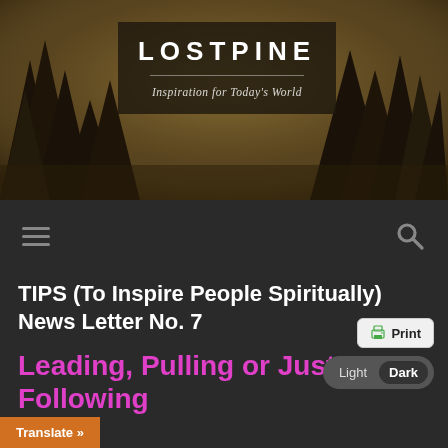[Figure (photo): Hero banner with forest/pine tree silhouettes in golden-brown misty light, with dark semi-transparent logo box overlay]
LOSTPINE
Inspiration for Today's World
[Figure (infographic): Dark navigation bar with hamburger menu icon on the left and search (magnifying glass) icon on the right]
TIPS (To Inspire People Spiritually) News Letter No. 7
Leading, Pulling or Just Following